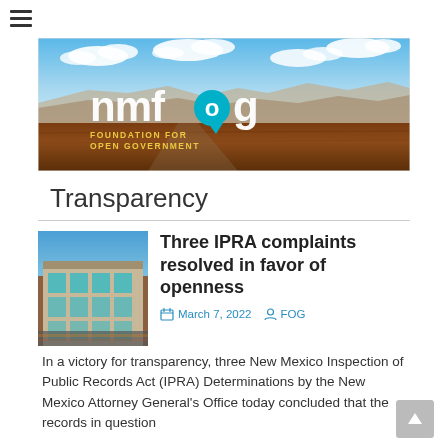[Figure (logo): NMFOG - New Mexico Foundation for Open Government banner logo with desert landscape background]
Transparency
Three IPRA complaints resolved in favor of openness
March 7, 2022   FOG
In a victory for transparency, three New Mexico Inspection of Public Records Act (IPRA) Determinations by the New Mexico Attorney General's Office today concluded that the records in question